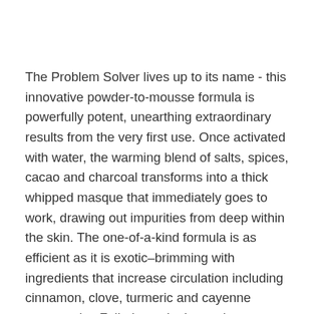The Problem Solver lives up to its name - this innovative powder-to-mousse formula is powerfully potent, unearthing extraordinary results from the very first use. Once activated with water, the warming blend of salts, spices, cacao and charcoal transforms into a thick whipped masque that immediately goes to work, drawing out impurities from deep within the skin. The one-of-a-kind formula is as efficient as it is exotic–brimming with ingredients that increase circulation including cinnamon, clove, turmeric and cayenne pepper, plus Fuller's earth clay to detox pores, nourishing marshmallow root and brightening vitamin C.